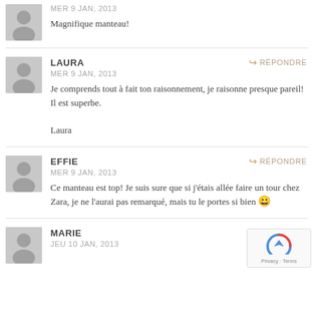MER 9 JAN, 2013
Magnifique manteau!
LAURA
MER 9 JAN, 2013
Je comprends tout à fait ton raisonnement, je raisonne presque pareil! Il est superbe.
Laura
EFFIE
MER 9 JAN, 2013
Ce manteau est top! Je suis sure que si j'étais allée faire un tour chez Zara, je ne l'aurai pas remarqué, mais tu le portes si bien 😀
MARIE
JEU 10 JAN, 2013